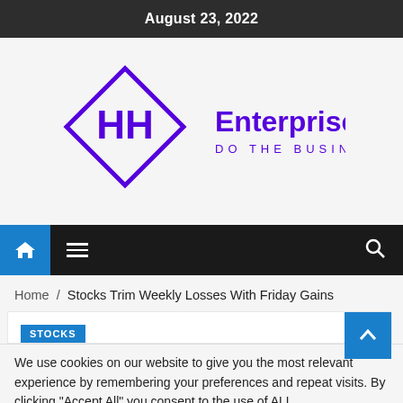August 23, 2022
[Figure (logo): Enterprise JM logo — purple diamond shape with stylized HH letters inside, next to text 'Enterprise JM' in bold purple and 'DO THE BUSINESS' in smaller spaced purple letters below]
Home / Stocks Trim Weekly Losses With Friday Gains
STOCKS
We use cookies on our website to give you the most relevant experience by remembering your preferences and repeat visits. By clicking "Accept All" you consent to the use of ALL